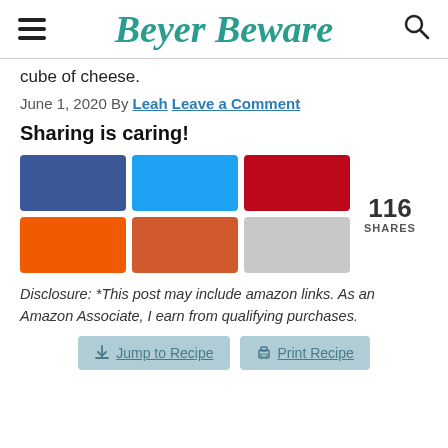Beyer Beware
cube of cheese.
June 1, 2020 By Leah Leave a Comment
Sharing is caring!
[Figure (infographic): Six social share buttons in a 3x2 grid (Facebook blue, Twitter blue, Pinterest red, orange, terracotta/orange-red, gray), followed by a share count of 116 SHARES]
Disclosure: *This post may include amazon links. As an Amazon Associate, I earn from qualifying purchases.
Jump to Recipe   Print Recipe